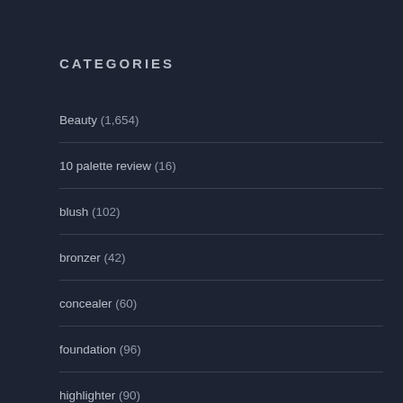CATEGORIES
Beauty (1,654)
10 palette review (16)
blush (102)
bronzer (42)
concealer (60)
foundation (96)
highlighter (90)
lips (163)
palettes (299)